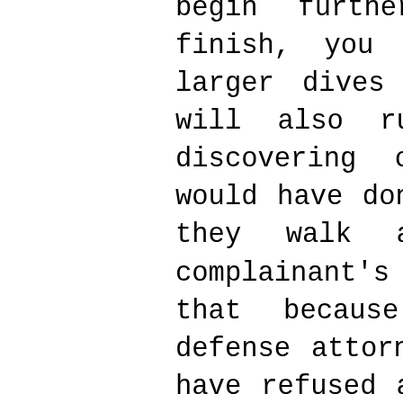begin further where you want to finish, you will need to move in larger dives to get a bargain. You will also run the risk of never discovering out what the opposite would have done, due to the fact that they walk away. If you are a complainant's guidance, bear in mind that because of client dynamics, defense attorney never ever wishes to have refused a demand, and after that done worse at trial. Conversely, a protection advice's easiest day is one in which the plaintiff's last demand is greater than what defense advise thinks of can be shed at trial. Such a final demand is a guilt-free environment-friendly light to litigate to the bitter end.